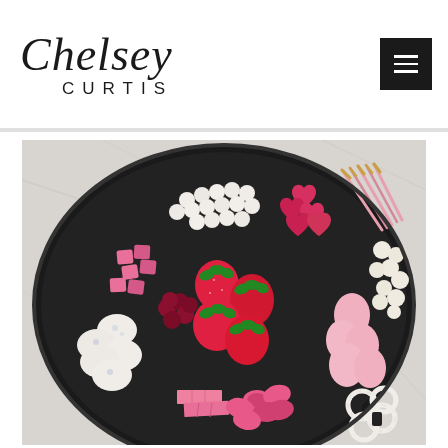Chelsey Curtis
[Figure (photo): Overhead view of a Valentine's Day candy and fruit charcuterie board on a black round plate, featuring strawberries, marshmallows, pink and white candies, gummy hearts, chocolate-covered pretzels, popcorn, and pink wafer sticks arranged decoratively.]